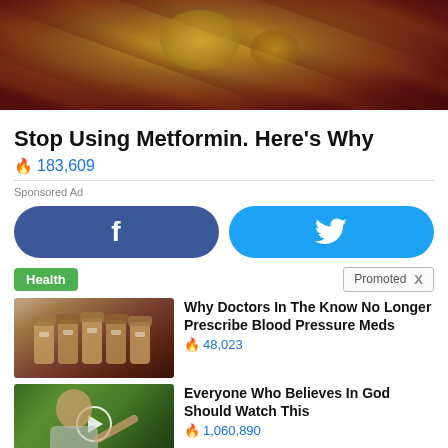[Figure (photo): Close-up medical/biological image with reddish-brown and golden tones, appears to show bodily tissue or organs]
Stop Using Metformin. Here's Why
🔥 183,609
Sponsored Ad
[Figure (other): Facebook share button (dark blue rounded rectangle with 'f' icon)]
[Figure (other): Twitter share button (cyan rounded rectangle with bird icon)]
Health
Promoted X
[Figure (photo): Thumbnail of prescription medicine bottles arranged in a row]
Why Doctors In The Know No Longer Prescribe Blood Pressure Meds
🔥 48,023
[Figure (photo): Thumbnail of a woman pointing outdoors with video play button overlay]
Everyone Who Believes In God Should Watch This
🔥 1,060,890